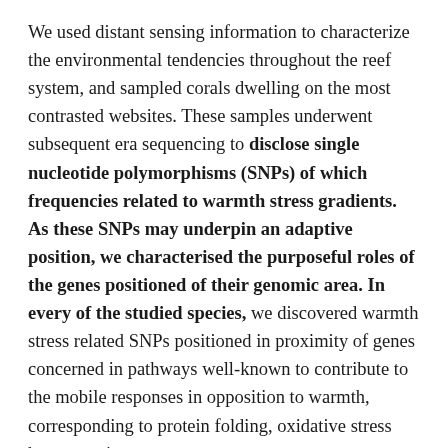We used distant sensing information to characterize the environmental tendencies throughout the reef system, and sampled corals dwelling on the most contrasted websites. These samples underwent subsequent era sequencing to disclose single nucleotide polymorphisms (SNPs) of which frequencies related to warmth stress gradients. As these SNPs may underpin an adaptive position, we characterised the purposeful roles of the genes positioned of their genomic area. In every of the studied species, we discovered warmth stress related SNPs positioned in proximity of genes concerned in pathways well-known to contribute to the mobile responses in opposition to warmth, corresponding to protein folding, oxidative stress homeostasis,